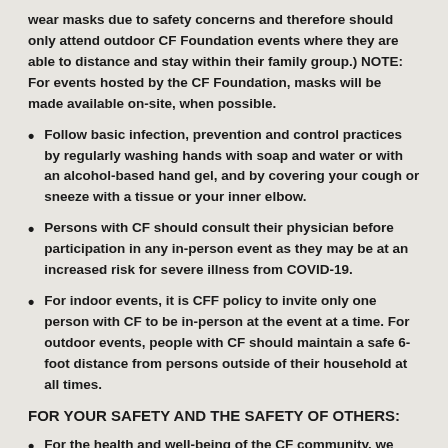wear masks due to safety concerns and therefore should only attend outdoor CF Foundation events where they are able to distance and stay within their family group.) NOTE: For events hosted by the CF Foundation, masks will be made available on-site, when possible.
Follow basic infection, prevention and control practices by regularly washing hands with soap and water or with an alcohol-based hand gel, and by covering your cough or sneeze with a tissue or your inner elbow.
Persons with CF should consult their physician before participation in any in-person event as they may be at an increased risk for severe illness from COVID-19.
For indoor events, it is CFF policy to invite only one person with CF to be in-person at the event at a time. For outdoor events, people with CF should maintain a safe 6-foot distance from persons outside of their household at all times.
FOR YOUR SAFETY AND THE SAFETY OF OTHERS:
For the health and well-being of the CF community, we strongly encourage that participants be fully vaccinated and have received the CDC recommended booster shot when joining us in-person for